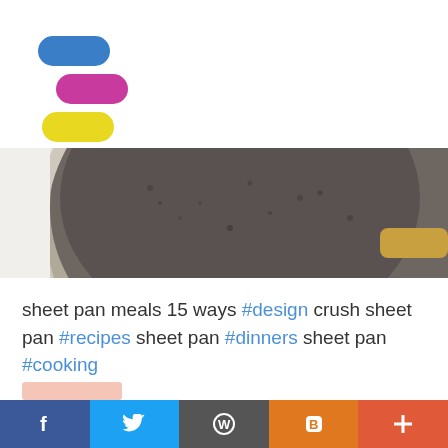[Figure (logo): Three pill/capsule shapes stacked diagonally: blue on top, magenta/pink in middle, yellow on bottom — forming a logo mark]
[Figure (photo): Close-up top-down photo of a dark, seasoned sheet pan or baking dish, light-colored background]
sheet pan meals 15 ways #design crush sheet pan #recipes sheet pan #dinners sheet pan #cooking
[Figure (illustration): Small light pink/salmon colored rounded rectangle label bar]
Sheet Pan Philly Cheesesteak
[Figure (infographic): Social sharing bar at bottom with Facebook, Twitter, WordPress, Blogger, and plus icons]